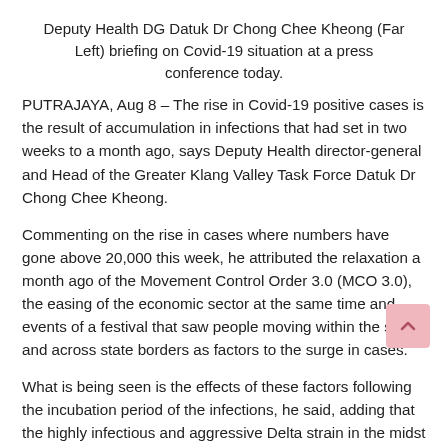Deputy Health DG Datuk Dr Chong Chee Kheong (Far Left) briefing on Covid-19 situation at a press conference today.
PUTRAJAYA, Aug 8 – The rise in Covid-19 positive cases is the result of accumulation in infections that had set in two weeks to a month ago, says Deputy Health director-general and Head of the Greater Klang Valley Task Force Datuk Dr Chong Chee Kheong.
Commenting on the rise in cases where numbers have gone above 20,000 this week, he attributed the relaxation a month ago of the Movement Control Order 3.0 (MCO 3.0), the easing of the economic sector at the same time and events of a festival that saw people moving within the states and across state borders as factors to the surge in cases.
What is being seen is the effects of these factors following the incubation period of the infections, he said, adding that the highly infectious and aggressive Delta strain in the midst was also adding up the cases.